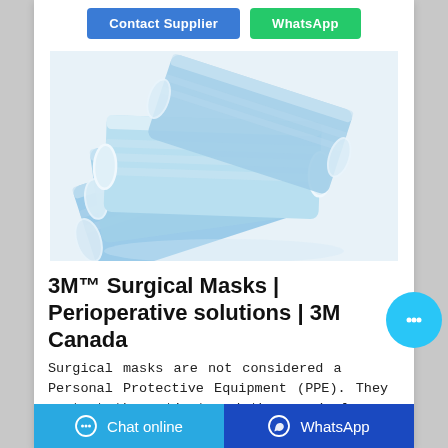[Figure (other): Two buttons at the top: 'Contact Supplier' (blue) and 'WhatsApp' (green)]
[Figure (photo): A pile of light blue surgical/medical face masks with white ear loops, stacked on a white background.]
3M™ Surgical Masks | Perioperative solutions | 3M Canada
Surgical masks are not considered a Personal Protective Equipment (PPE). They protect the patient and the surgical area from contamination only. Learn more about the 3M™ Disposable Respirators
Chat online   WhatsApp